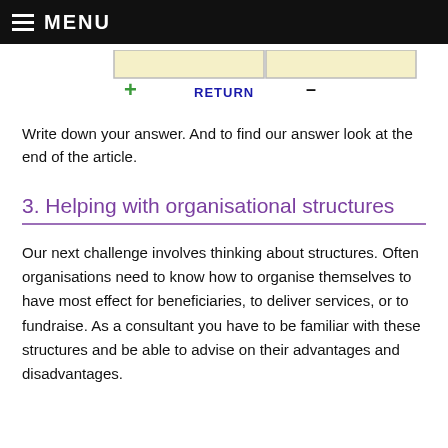MENU
[Figure (other): Partial diagram showing two yellow boxes and controls: a green plus sign, a blue RETURN label, and a minus dash button]
Write down your answer. And to find our answer look at the end of the article.
3. Helping with organisational structures
Our next challenge involves thinking about structures. Often organisations need to know how to organise themselves to have most effect for beneficiaries, to deliver services, or to fundraise. As a consultant you have to be familiar with these structures and be able to advise on their advantages and disadvantages.